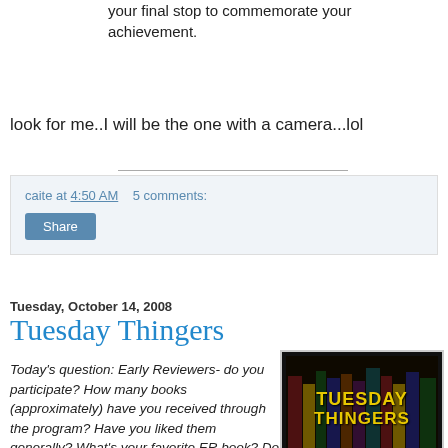your final stop to commemorate your achievement.
look for me..I will be the one with a camera...lol
caite at 4:50 AM    5 comments:
Share
Tuesday, October 14, 2008
Tuesday Thingers
Today's question: Early Reviewers- do you participate? How many books (approximately) have you received through the program? Have you liked them generally? What's your favorite ER book? Do you participate in the
[Figure (illustration): Tuesday Thingers logo showing books on a dark background with yellow bold text reading TUESDAY THINGERS]